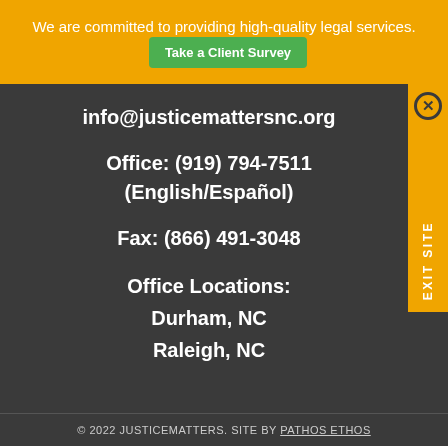We are committed to providing high-quality legal services.
Take a Client Survey
info@justicemattersnc.org
Office: (919) 794-7511
(English/Español)
Fax: (866) 491-3048
Office Locations:
Durham, NC
Raleigh, NC
EXIT SITE
© 2022 JUSTICEMATTERS. SITE BY PATHOS ETHOS